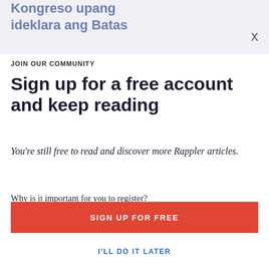Kongreso upang ideklara ang Batas
X
JOIN OUR COMMUNITY
Sign up for a free account and keep reading
You're still free to read and discover more Rappler articles.
Why is it important for you to register?
Know here.
SIGN UP FOR FREE
I'LL DO IT LATER